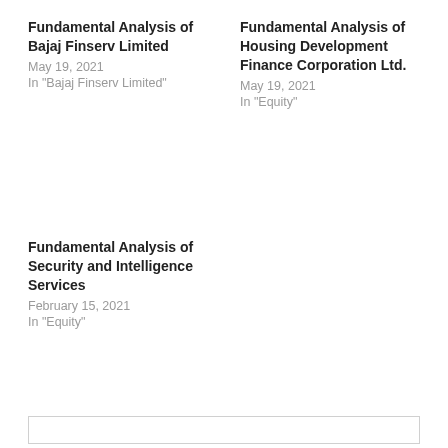Fundamental Analysis of Bajaj Finserv Limited
May 19, 2021
In "Bajaj Finserv Limited"
Fundamental Analysis of Housing Development Finance Corporation Ltd.
May 19, 2021
In "Equity"
Fundamental Analysis of Security and Intelligence Services
February 15, 2021
In "Equity"